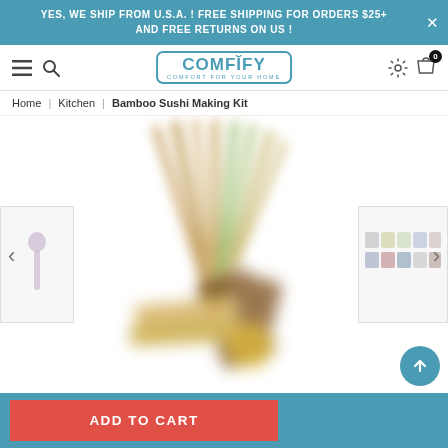YES, WE SHIP FROM U.S.A. ! FREE SHIPPING FOR ORDERS $25+ AND FREE RETURNS ON US !
[Figure (logo): COMFIFY logo with tagline COMFORT FOR YOUR HOME in a rounded rectangular border]
Home | Kitchen | Bamboo Sushi Making Kit
[Figure (photo): Blurred product photo of Bamboo Sushi Making Kit showing bamboo chopsticks, rolling mat, and sushi-making tools]
ADD TO CART